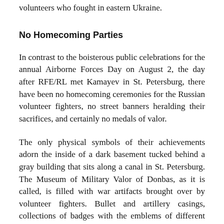volunteers who fought in eastern Ukraine.
No Homecoming Parties
In contrast to the boisterous public celebrations for the annual Airborne Forces Day on August 2, the day after RFE/RL met Kamayev in St. Petersburg, there have been no homecoming ceremonies for the Russian volunteer fighters, no street banners heralding their sacrifices, and certainly no medals of valor.
The only physical symbols of their achievements adorn the inside of a dark basement tucked behind a gray building that sits along a canal in St. Petersburg. The Museum of Military Valor of Donbas, as it is called, is filled with war artifacts brought over by volunteer fighters. Bullet and artillery casings, collections of badges with the emblems of different fighting units, photographs of pro-Russian propagandists (including a British blogger and an American radio host), and memorials to notorious commanders cut down in